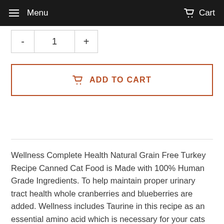Menu  Cart
- 1 +
ADD TO CART
Wellness Complete Health Natural Grain Free Turkey Recipe Canned Cat Food is Made with 100% Human Grade Ingredients. To help maintain proper urinary tract health whole cranberries and blueberries are added. Wellness includes Taurine in this recipe as an essential amino acid which is necessary for your cats normal eye and heart function.